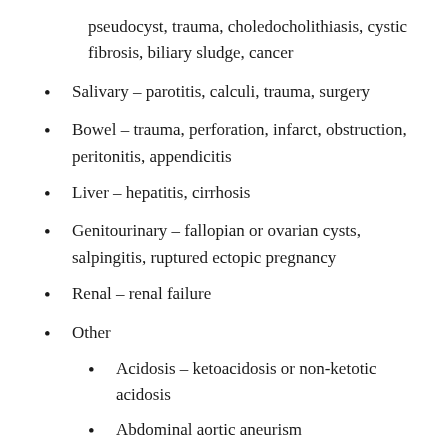pseudocyst, trauma, choledocholithiasis, cystic fibrosis, biliary sludge, cancer
Salivary – parotitis, calculi, trauma, surgery
Bowel – trauma, perforation, infarct, obstruction, peritonitis, appendicitis
Liver – hepatitis, cirrhosis
Genitourinary – fallopian or ovarian cysts, salpingitis, ruptured ectopic pregnancy
Renal – renal failure
Other
Acidosis – ketoacidosis or non-ketotic acidosis
Abdominal aortic aneurism